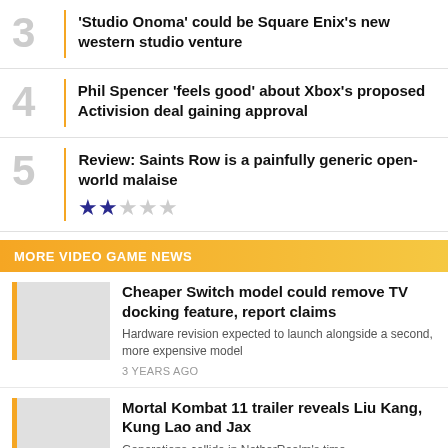3 'Studio Onoma' could be Square Enix's new western studio venture
4 Phil Spencer 'feels good' about Xbox's proposed Activision deal gaining approval
5 Review: Saints Row is a painfully generic open-world malaise — 2 out of 5 stars
MORE VIDEO GAME NEWS
Cheaper Switch model could remove TV docking feature, report claims
Hardware revision expected to launch alongside a second, more expensive model
3 YEARS AGO
Mortal Kombat 11 trailer reveals Liu Kang, Kung Lao and Jax
Generations collide in NetherRealm's time...